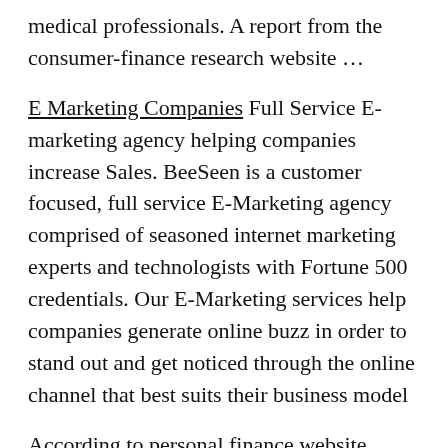medical professionals. A report from the consumer-finance research website …
E Marketing Companies Full Service E-marketing agency helping companies increase Sales. BeeSeen is a customer focused, full service E-Marketing agency comprised of seasoned internet marketing experts and technologists with Fortune 500 credentials. Our E-Marketing services help companies generate online buzz in order to stand out and get noticed through the online channel that best suits their business model
According to personal finance website WalletHub, Minnesota is the fourth best state to practice medicine. North Dakota is the …
Medical Website Design Company: Vital